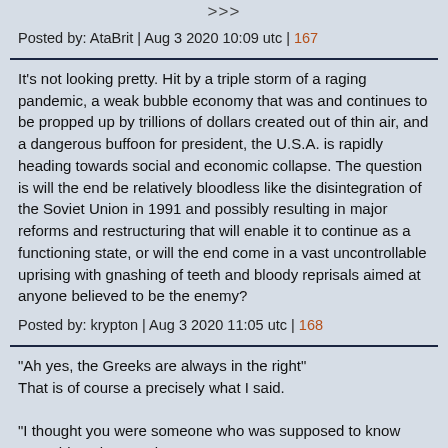>>>
Posted by: AtaBrit | Aug 3 2020 10:09 utc | 167
It's not looking pretty. Hit by a triple storm of a raging pandemic, a weak bubble economy that was and continues to be propped up by trillions of dollars created out of thin air, and a dangerous buffoon for president, the U.S.A. is rapidly heading towards social and economic collapse. The question is will the end be relatively bloodless like the disintegration of the Soviet Union in 1991 and possibly resulting in major reforms and restructuring that will enable it to continue as a functioning state, or will the end come in a vast uncontrollable uprising with gnashing of teeth and bloody reprisals aimed at anyone believed to be the enemy?
Posted by: krypton | Aug 3 2020 11:05 utc | 168
"Ah yes, the Greeks are always in the right"
That is of course a precisely what I said.

"I thought you were someone who was supposed to know something about Turkey"
Then challenge it. Because at the moment all you are doing is and bitching and biting like someone arrogant enough to presume they know it all when in fact the content of your comments displays precisely the opposite.